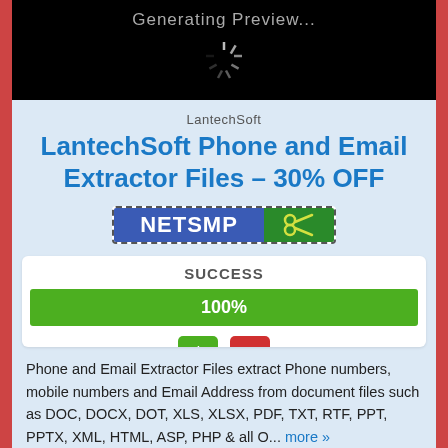[Figure (screenshot): Black preview box showing 'Generating Preview...' text with a loading spinner]
LantechSoft
LantechSoft Phone and Email Extractor Files – 30% OFF
[Figure (infographic): Coupon code box with blue background showing 'NETSMP' and green scissors icon section, dashed border]
[Figure (infographic): Success box with 100% green progress bar and thumbs up/thumbs down buttons]
Phone and Email Extractor Files extract Phone numbers, mobile numbers and Email Address from document files such as DOC, DOCX, DOT, XLS, XLSX, PDF, TXT, RTF, PPT, PPTX, XML, HTML, ASP, PHP & all O... more »